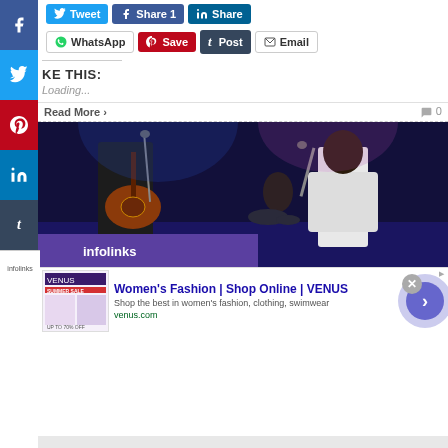[Figure (screenshot): Social media share buttons: Tweet (blue), Share (Facebook blue), Share (LinkedIn blue) in top row; WhatsApp, Save (Pinterest red), Post (Tumblr dark), Email in second row]
KE THIS:
Loading...
Read More >
0
[Figure (photo): Concert photo: two musicians on a dark stage; left person plays acoustic guitar wearing black sleeveless top; right person sings into a microphone wearing a white blouse. Purple banner visible at bottom with 'infolinks' text.]
[Figure (screenshot): Advertisement banner: Women's Fashion | Shop Online | VENUS. Shop the best in women's fashion, clothing, swimwear. venus.com. Thumbnail shows VENUS website with Summer Sale promotion and a model.]